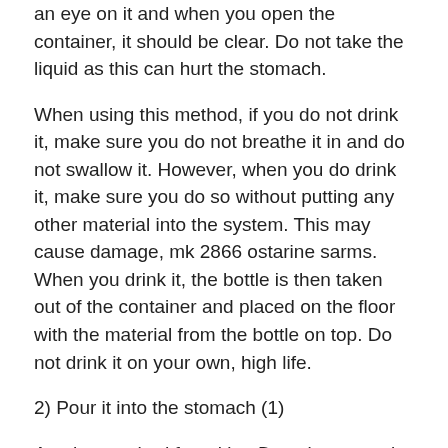an eye on it and when you open the container, it should be clear. Do not take the liquid as this can hurt the stomach.
When using this method, if you do not drink it, make sure you do not breathe it in and do not swallow it. However, when you do drink it, make sure you do so without putting any other material into the system. This may cause damage, mk 2866 ostarine sarms. When you drink it, the bottle is then taken out of the container and placed on the floor with the material from the bottle on top. Do not drink it on your own, high life.
2) Pour it into the stomach (1)
Another method for taking Deca is to pour it into the stomach, which is the part of the stomach that is the most important for the body, best bulking stack steroids. In this method, you have to make sure that you do